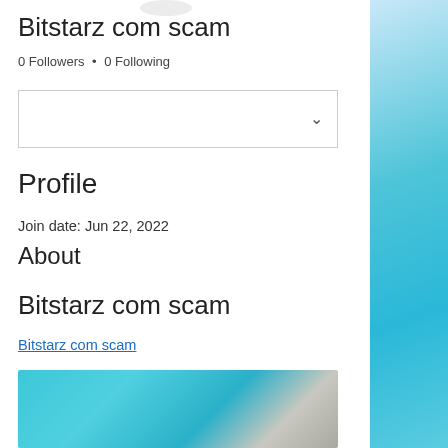Bitstarz com scam
0 Followers • 0 Following
[Figure (other): Dropdown selector box with chevron arrow]
Profile
Join date: Jun 22, 2022
About
Bitstarz com scam
Bitstarz com scam
[Figure (photo): Blurred image with teal/cyan tones showing figures]